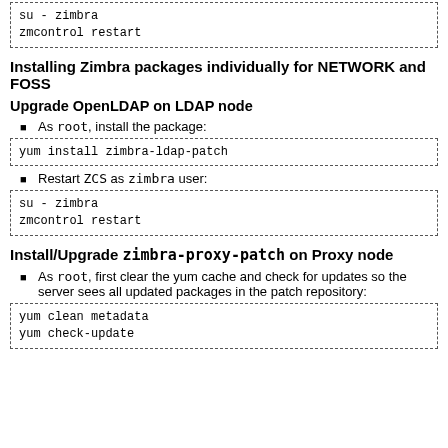[Figure (screenshot): Code block with dashed border showing: su - zimbra / zmcontrol restart]
Installing Zimbra packages individually for NETWORK and FOSS
Upgrade OpenLDAP on LDAP node
As root, install the package:
[Figure (screenshot): Code block: yum install zimbra-ldap-patch]
Restart ZCS as zimbra user:
[Figure (screenshot): Code block: su - zimbra / zmcontrol restart]
Install/Upgrade zimbra-proxy-patch on Proxy node
As root, first clear the yum cache and check for updates so the server sees all updated packages in the patch repository:
[Figure (screenshot): Code block: yum clean metadata / yum check-update]